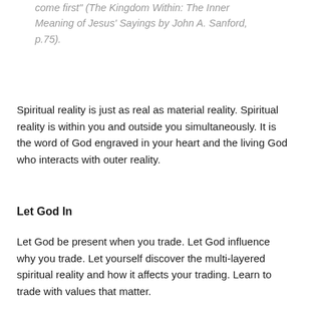come first" (The Kingdom Within: The Inner Meaning of Jesus' Sayings by John A. Sanford, p.75).
Spiritual reality is just as real as material reality. Spiritual reality is within you and outside you simultaneously. It is the word of God engraved in your heart and the living God who interacts with outer reality.
Let God In
Let God be present when you trade. Let God influence why you trade. Let yourself discover the multi-layered spiritual reality and how it affects your trading. Learn to trade with values that matter.